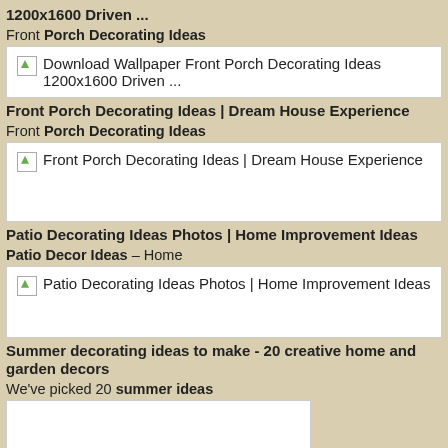1200x1600 Driven ...
Front Porch Decorating Ideas
[Figure (screenshot): White image box with placeholder icon and text: Download Wallpaper Front Porch Decorating Ideas 1200x1600 Driven ...]
Front Porch Decorating Ideas | Dream House Experience
Front Porch Decorating Ideas
[Figure (screenshot): White image box with placeholder icon and text: Front Porch Decorating Ideas | Dream House Experience]
Patio Decorating Ideas Photos | Home Improvement Ideas
Patio Decor Ideas – Home
[Figure (screenshot): White image box with placeholder icon and text: Patio Decorating Ideas Photos | Home Improvement Ideas]
Summer decorating ideas to make - 20 creative home and garden decors
We've picked 20 summer ideas
[Figure (screenshot): White image box (partially visible at bottom of page)]